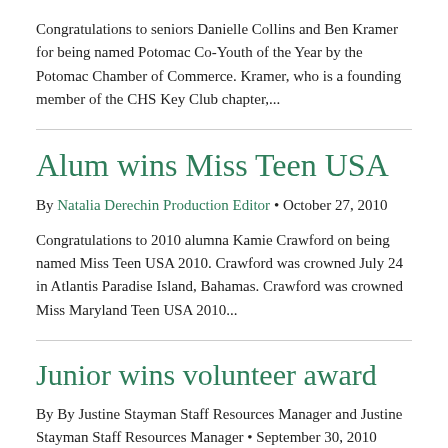Congratulations to seniors Danielle Collins and Ben Kramer for being named Potomac Co-Youth of the Year by the Potomac Chamber of Commerce. Kramer, who is a founding member of the CHS Key Club chapter,...
Alum wins Miss Teen USA
By Natalia Derechin Production Editor • October 27, 2010
Congratulations to 2010 alumna Kamie Crawford on being named Miss Teen USA 2010. Crawford was crowned July 24 in Atlantis Paradise Island, Bahamas. Crawford was crowned Miss Maryland Teen USA 2010...
Junior wins volunteer award
By By Justine Stayman Staff Resources Manager and Justine Stayman Staff Resources Manager • September 30, 2010